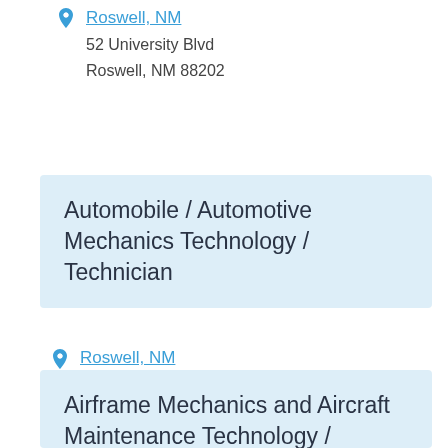52 University Blvd
Roswell, NM 88202
Automobile / Automotive Mechanics Technology / Technician
Roswell, NM
52 University Blvd
Roswell, NM 88202
Airframe Mechanics and Aircraft Maintenance Technology / Technician